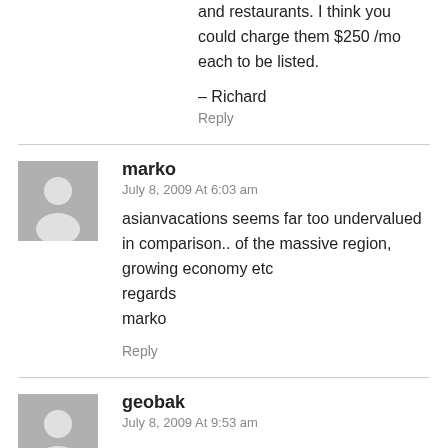and restaurants. I think you could charge them $250 /mo each to be listed.
– Richard
Reply
marko
July 8, 2009 At 6:03 am
asianvacations seems far too undervalued in comparison.. of the massive region, growing economy etc
regards
marko
Reply
geobak
July 8, 2009 At 9:53 am